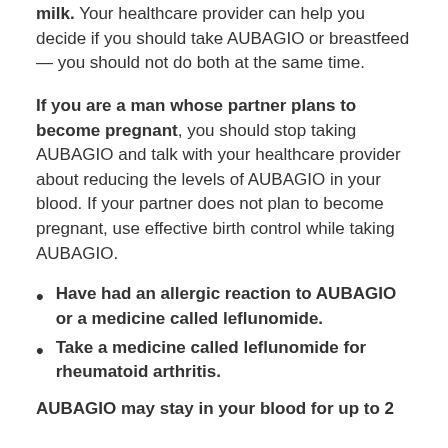milk. Your healthcare provider can help you decide if you should take AUBAGIO or breastfeed — you should not do both at the same time.
If you are a man whose partner plans to become pregnant, you should stop taking AUBAGIO and talk with your healthcare provider about reducing the levels of AUBAGIO in your blood. If your partner does not plan to become pregnant, use effective birth control while taking AUBAGIO.
Have had an allergic reaction to AUBAGIO or a medicine called leflunomide.
Take a medicine called leflunomide for rheumatoid arthritis.
AUBAGIO may stay in your blood for up to 2